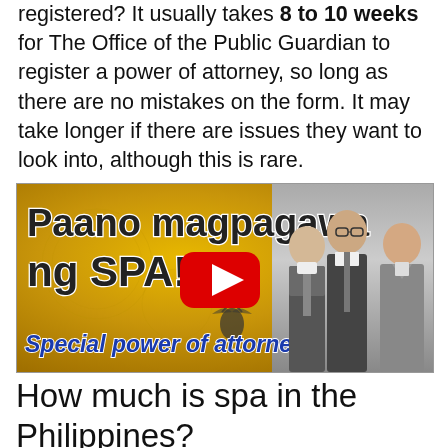registered? It usually takes 8 to 10 weeks for The Office of the Public Guardian to register a power of attorney, so long as there are no mistakes on the form. It may take longer if there are issues they want to look into, although this is rare.
[Figure (screenshot): YouTube video thumbnail showing Filipino text 'Paano magpagawa ng SPA' and 'Special power of attorney' with a YouTube play button overlay and three lawyers in suits on the right side, against a gold/yellow textured background.]
How much is spa in the Philippines?